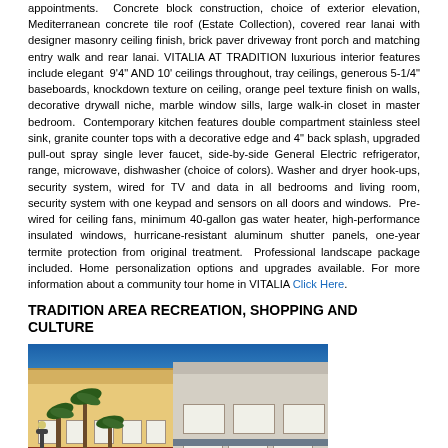appointments. Concrete block construction, choice of exterior elevation, Mediterranean concrete tile roof (Estate Collection), covered rear lanai with designer masonry ceiling finish, brick paver driveway front porch and matching entry walk and rear lanai. VITALIA AT TRADITION luxurious interior features include elegant 9'4" AND 10' ceilings throughout, tray ceilings, generous 5-1/4" baseboards, knockdown texture on ceiling, orange peel texture finish on walls, decorative drywall niche, marble window sills, large walk-in closet in master bedroom. Contemporary kitchen features double compartment stainless steel sink, granite counter tops with a decorative edge and 4" back splash, upgraded pull-out spray single lever faucet, side-by-side General Electric refrigerator, range, microwave, dishwasher (choice of colors). Washer and dryer hook-ups, security system, wired for TV and data in all bedrooms and living room, security system with one keypad and sensors on all doors and windows. Pre-wired for ceiling fans, minimum 40-gallon gas water heater, high-performance insulated windows, hurricane-resistant aluminum shutter panels, one-year termite protection from original treatment. Professional landscape package included. Home personalization options and upgrades available. For more information about a community tour home in VITALIA Click Here.
TRADITION AREA RECREATION, SHOPPING AND CULTURE
[Figure (photo): Street-level photo of colorful commercial buildings in Tradition area with palm trees and blue sky. Buildings appear to be retail/mixed-use with Mediterranean-style architecture.]